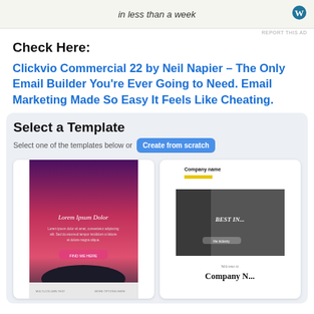[Figure (screenshot): Advertisement banner with italic text 'in less than a week' and a WordPress logo on the right]
REPORT THIS AD
Check Here:
Clickvio Commercial 22 by Neil Napier – The Only Email Builder You're Ever Going to Need. Email Marketing Made So Easy It Feels Like Cheating.
[Figure (screenshot): Screenshot of Clickvio app showing 'Select a Template' heading, 'Select one of the templates below or' text with a blue 'Create from scratch' button, and two email template preview cards below — one with a purple sunset scene and pink button, and one with a 'Company name' header, a man in suit image, and 'BEST IN...' text overlay.]